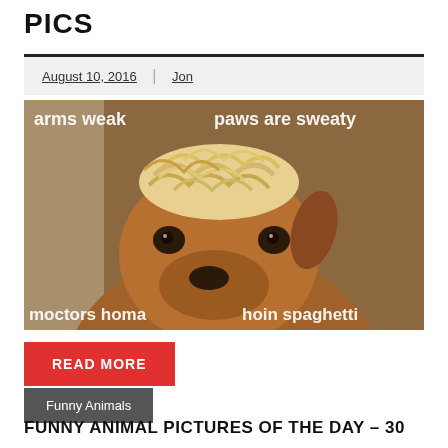PICS
August 10, 2016 | Jon
[Figure (photo): Dog with spaghetti noodles on its head (meme image). Text overlaid reads: 'arms weak   paws are sweaty' at top, and 'moctors homa   hoin spaghetti' at bottom.]
READ MORE
Funny Animals
FUNNY ANIMAL PICTURES OF THE DAY – 30